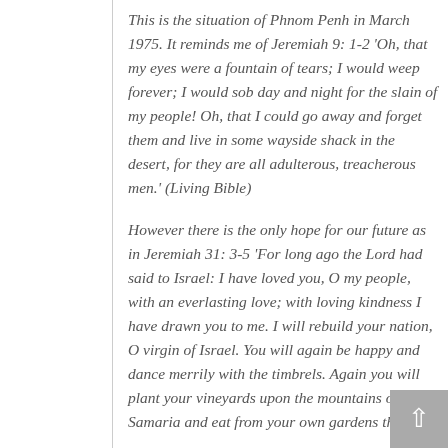This is the situation of Phnom Penh in March 1975. It reminds me of Jeremiah 9: 1-2 'Oh, that my eyes were a fountain of tears; I would weep forever; I would sob day and night for the slain of my people! Oh, that I could go away and forget them and live in some wayside shack in the desert, for they are all adulterous, treacherous men.' (Living Bible)
However there is the only hope for our future as in Jeremiah 31: 3-5 'For long ago the Lord had said to Israel: I have loved you, O my people, with an everlasting love; with loving kindness I have drawn you to me. I will rebuild your nation, O virgin of Israel. You will again be happy and dance merrily with the timbrels. Again you will plant your vineyards upon the mountains of Samaria and eat from your own gardens there.'